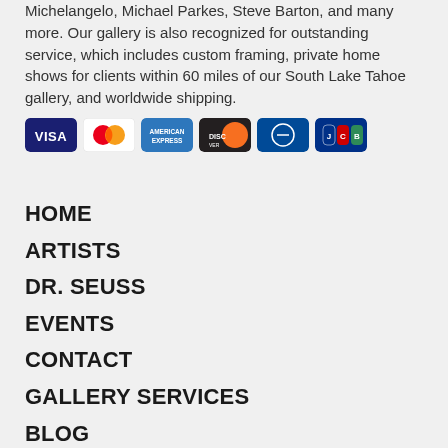Michelangelo, Michael Parkes, Steve Barton, and many more. Our gallery is also recognized for outstanding service, which includes custom framing, private home shows for clients within 60 miles of our South Lake Tahoe gallery, and worldwide shipping.
[Figure (other): Row of payment method icons: Visa, Mastercard, American Express, Discover, Diners Club, JCB]
HOME
ARTISTS
DR. SEUSS
EVENTS
CONTACT
GALLERY SERVICES
BLOG
CONTACT